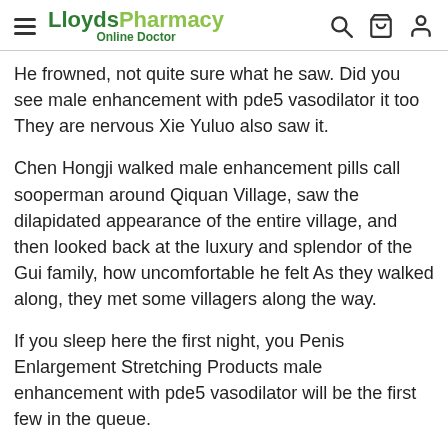LloydsPharmacy Online Doctor
He frowned, not quite sure what he saw. Did you see male enhancement with pde5 vasodilator it too They are nervous Xie Yuluo also saw it.
Chen Hongji walked male enhancement pills call sooperman around Qiquan Village, saw the dilapidated appearance of the entire village, and then looked back at the luxury and splendor of the Gui family, how uncomfortable he felt As they walked along, they met some villagers along the way.
If you sleep here the first night, you Penis Enlargement Stretching Products male enhancement with pde5 vasodilator will be the first few in the queue.
Xiao Damin said that Hong Nan is not pleasing to the